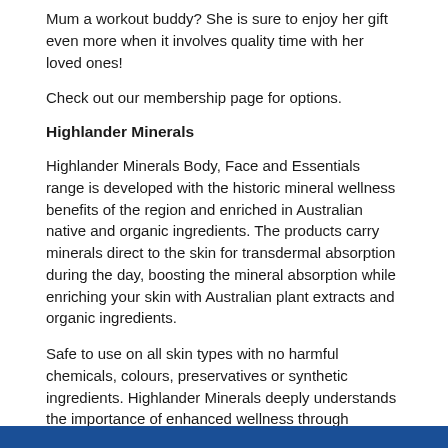Mum a workout buddy? She is sure to enjoy her gift even more when it involves quality time with her loved ones!
Check out our membership page for options.
Highlander Minerals
Highlander Minerals Body, Face and Essentials range is developed with the historic mineral wellness benefits of the region and enriched in Australian native and organic ingredients. The products carry minerals direct to the skin for transdermal absorption during the day, boosting the mineral absorption while enriching your skin with Australian plant extracts and organic ingredients.
Safe to use on all skin types with no harmful chemicals, colours, preservatives or synthetic ingredients. Highlander Minerals deeply understands the importance of enhanced wellness through skincare. A little self-care for the VIP woman in your world. View the range.